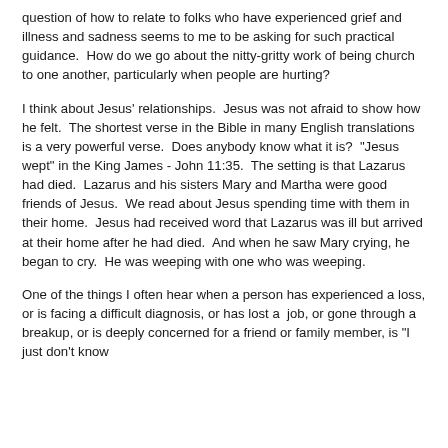question of how to relate to folks who have experienced grief and illness and sadness seems to me to be asking for such practical guidance.  How do we go about the nitty-gritty work of being church to one another, particularly when people are hurting?
I think about Jesus' relationships.  Jesus was not afraid to show how he felt.  The shortest verse in the Bible in many English translations is a very powerful verse.  Does anybody know what it is?  "Jesus wept" in the King James - John 11:35.  The setting is that Lazarus had died.  Lazarus and his sisters Mary and Martha were good friends of Jesus.  We read about Jesus spending time with them in their home.  Jesus had received word that Lazarus was ill but arrived at their home after he had died.  And when he saw Mary crying, he began to cry.  He was weeping with one who was weeping.
One of the things I often hear when a person has experienced a loss, or is facing a difficult diagnosis, or has lost a  job, or gone through a breakup, or is deeply concerned for a friend or family member, is "I just don't know